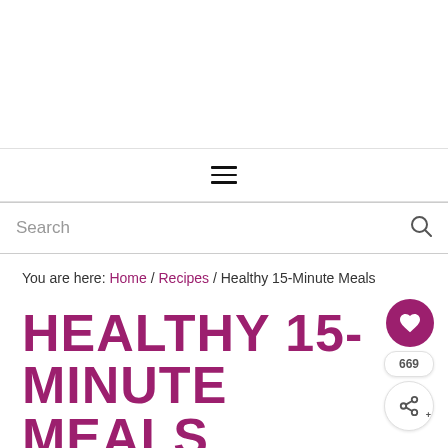Search
You are here: Home / Recipes / Healthy 15-Minute Meals
HEALTHY 15-MINUTE MEALS